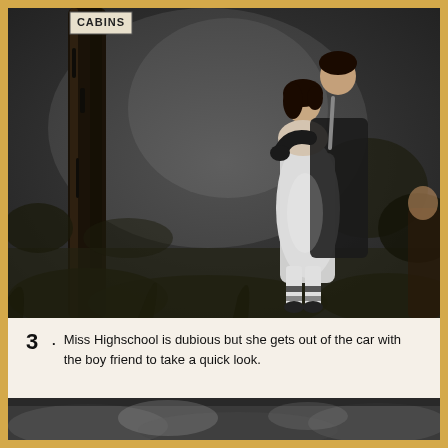[Figure (photo): Black and white photograph of a young couple standing near a tree outdoors. A sign reading 'CABINS' is visible in the upper left. The woman wears a white dress and the man has his arm around her shoulder. Dense foliage is in the background.]
3. Miss Highschool is dubious but she gets out of the car with the boy friend to take a quick look.
[Figure (photo): Partial black and white photograph visible at the bottom of the page, showing a blurred outdoor scene.]